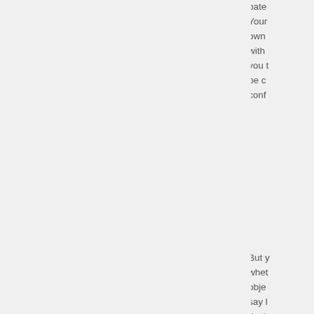own with with you t be c conf But y whet obje say l "in th touc inclu obse incid resig You sexu philo bein